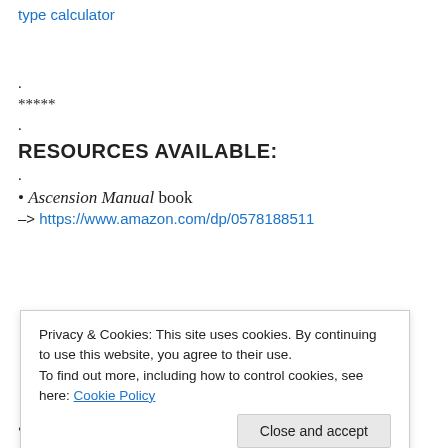type  calculator
.
*****
.
RESOURCES AVAILABLE:
.
• Ascension Manual book
–> https://www.amazon.com/dp/0578188511
Privacy & Cookies: This site uses cookies. By continuing to use this website, you agree to their use. To find out more, including how to control cookies, see here: Cookie Policy
• MEL GEL Study Guide book